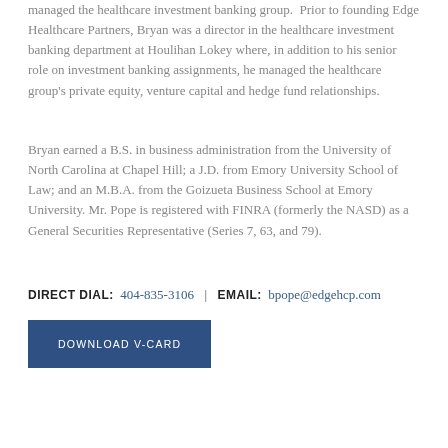managed the healthcare investment banking group.  Prior to founding Edge Healthcare Partners, Bryan was a director in the healthcare investment banking department at Houlihan Lokey where, in addition to his senior role on investment banking assignments, he managed the healthcare group's private equity, venture capital and hedge fund relationships.
Bryan earned a B.S. in business administration from the University of North Carolina at Chapel Hill; a J.D. from Emory University School of Law; and an M.B.A. from the Goizueta Business School at Emory University. Mr. Pope is registered with FINRA (formerly the NASD) as a General Securities Representative (Series 7, 63, and 79).
DIRECT DIAL: 404-835-3106 | EMAIL: bpope@edgehcp.com
DOWNLOAD V-CARD